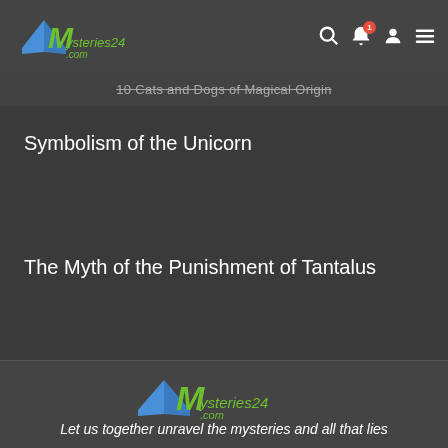Mysteries24.com
10 Cats and Dogs of Magical Origin
Symbolism of the Unicorn
The Myth of the Punishment of Tantalus
[Figure (logo): Mysteries24.com logo with open book and green handwritten text]
Let us together unravel the mysteries and all that lies